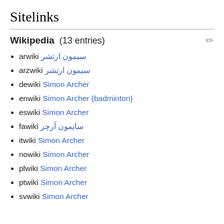Sitelinks
Wikipedia  (13 entries)
arwiki سيمون ارتشر
arzwiki سيمون ارتشر
dewiki Simon Archer
enwiki Simon Archer (badminton)
eswiki Simon Archer
fawiki سایمون آرچر
itwiki Simon Archer
nowiki Simon Archer
plwiki Simon Archer
ptwiki Simon Archer
svwiki Simon Archer